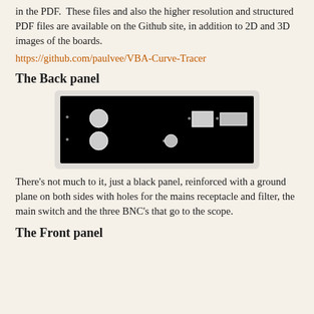in the PDF. These files and also the higher resolution and structured PDF files are available on the Github site, in addition to 2D and 3D images of the boards.
https://github.com/paulvee/VBA-Curve-Tracer
The Back panel
[Figure (schematic): Back panel PCB design showing a black rectangular panel with holes for mains receptacle and filter, main switch, and three BNC connectors. Dark background with white circles and rectangles indicating component positions.]
There's not much to it, just a black panel, reinforced with a ground plane on both sides with holes for the mains receptacle and filter, the main switch and the three BNC's that go to the scope.
The Front panel